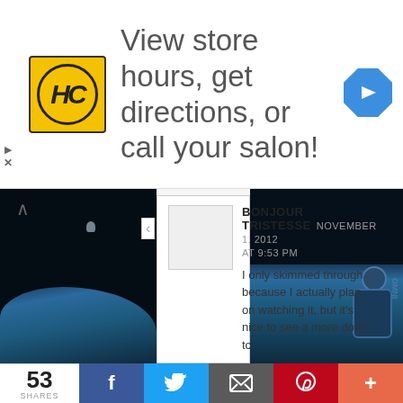[Figure (infographic): Advertisement banner with HC logo (yellow circle) and text 'View store hours, get directions, or call your salon!' with blue diamond navigation arrow icon on the right. Small ad indicators on lower left.]
[Figure (photo): Dark space/moon landscape scene with a distant figure. Left side dark panel showing blue moon surface and distant astronaut figure with up-arrow navigation icon.]
[Figure (photo): Dark space/moon landscape scene on right side with astronaut in foreground wearing space suit.]
BONJOUR TRISTESSE  NOVEMBER 1, 2012 AT 9:53 PM

I only skimmed through because I actually plan on watching it, but it's nice to see a more down to
[Figure (infographic): Social share bar showing: 53 SHARES, Facebook (blue), Twitter (light blue), Email (gray with envelope), Pinterest (red), More/Plus (orange-red)]